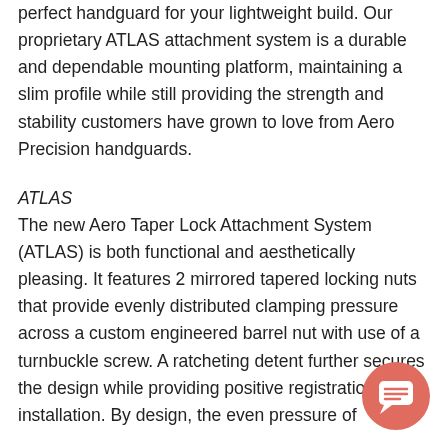perfect handguard for your lightweight build. Our proprietary ATLAS attachment system is a durable and dependable mounting platform, maintaining a slim profile while still providing the strength and stability customers have grown to love from Aero Precision handguards.
ATLAS
The new Aero Taper Lock Attachment System (ATLAS) is both functional and aesthetically pleasing. It features 2 mirrored tapered locking nuts that provide evenly distributed clamping pressure across a custom engineered barrel nut with use of a turnbuckle screw. A ratcheting detent further secures the design while providing positive registration during installation. By design, the even pressure of
[Figure (other): Salmon/coral colored circular chat button with a message/chat icon in the center, positioned at bottom right of page.]